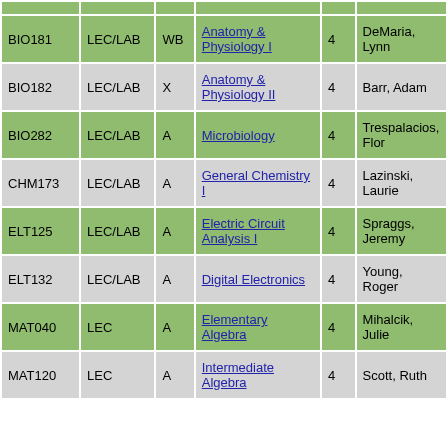| Course | Type | Sec | Title | Credits | Instructor |
| --- | --- | --- | --- | --- | --- |
| BIO181 | LEC/LAB | WB | Anatomy & Physiology I | 4 | DeMaria, Lynn |
| BIO182 | LEC/LAB | X | Anatomy & Physiology II | 4 | Barr, Adam |
| BIO282 | LEC/LAB | A | Microbiology | 4 | Trespalacios, Flor |
| CHM173 | LEC/LAB | A | General Chemistry I | 4 | Lazinski, Laurie |
| ELT125 | LEC/LAB | A | Electric Circuit Analysis I | 4 | Spraggs, Jeremy |
| ELT132 | LEC/LAB | A | Digital Electronics | 4 | Young, Roger |
| MAT040 | LEC | A | Elementary Algebra | 4 | Mihalcik, Julie |
| MAT120 | LEC | A | Intermediate Algebra | 4 | Scott, Ruth |